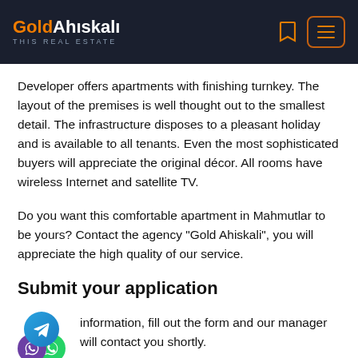GoldAhıskalı THIS REAL ESTATE
Developer offers apartments with finishing turnkey. The layout of the premises is well thought out to the smallest detail. The infrastructure disposes to a pleasant holiday and is available to all tenants. Even the most sophisticated buyers will appreciate the original décor. All rooms have wireless Internet and satellite TV.
Do you want this comfortable apartment in Mahmutlar to be yours? Contact the agency "Gold Ahiskali", you will appreciate the high quality of our service.
Submit your application
information, fill out the form and our manager will contact you shortly.